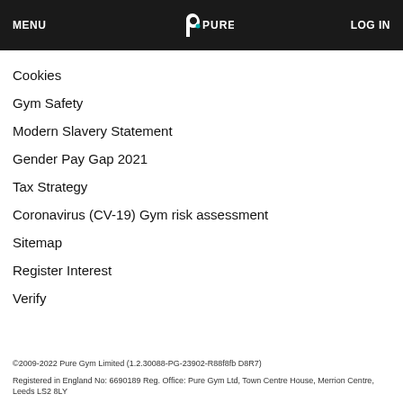MENU | PUREGYM | LOG IN
Cookies
Gym Safety
Modern Slavery Statement
Gender Pay Gap 2021
Tax Strategy
Coronavirus (CV-19) Gym risk assessment
Sitemap
Register Interest
Verify
©2009-2022 Pure Gym Limited (1.2.30088-PG-23902-R88f8fb D8R7)
Registered in England No: 6690189 Reg. Office: Pure Gym Ltd, Town Centre House, Merrion Centre, Leeds LS2 8LY